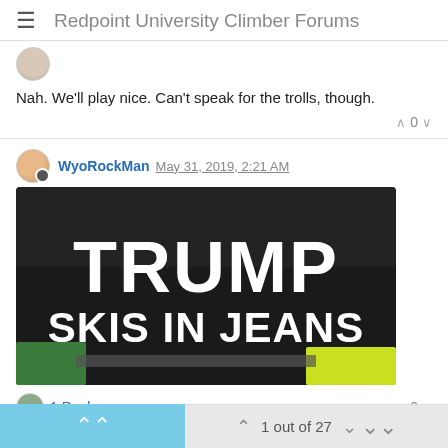Redpoint University Climber Forums
Nah. We'll play nice. Can't speak for the trolls, though.
WyoRockMan  May 31, 2019, 2:21 AM
[Figure (photo): A bumper sticker or sign on a dark background reading 'TRUMP SKIS IN JEANS' in large white bold letters, with green/yellow coloring at the bottom edges.]
1 Reply >
1 out of 27